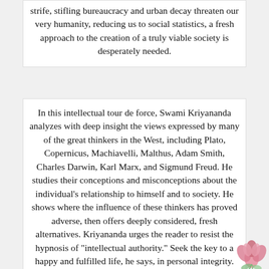strife, stifling bureaucracy and urban decay threaten our very humanity, reducing us to social statistics, a fresh approach to the creation of a truly viable society is desperately needed.
In this intellectual tour de force, Swami Kriyananda analyzes with deep insight the views expressed by many of the great thinkers in the West, including Plato, Copernicus, Machiavelli, Malthus, Adam Smith, Charles Darwin, Karl Marx, and Sigmund Freud. He studies their conceptions and misconceptions about the individual's relationship to himself and to society. He shows where the influence of these thinkers has proved adverse, then offers deeply considered, fresh alternatives. Kriyananda urges the reader to resist the hypnosis of "intellectual authority." Seek the key to a happy and fulfilled life, he says, in personal integrity.
[Figure (illustration): Pink lotus flower illustration in bottom-right corner]